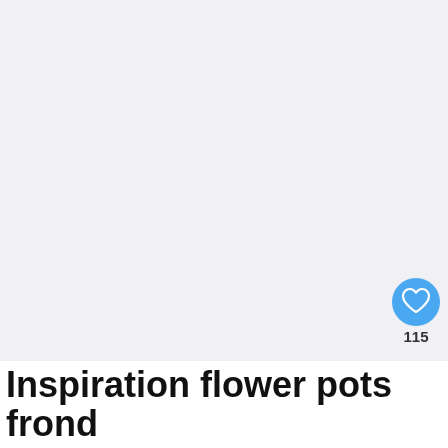[Figure (photo): Large light-colored image area, appears mostly blank/light gray-white, representing a photograph placeholder for flower pots frond content]
[Figure (illustration): Heart/like button (blue circle with white heart icon), count of 115, and share button (circle with share icon)]
[Figure (photo): Thumbnail image showing a golden door knocker, used as 'What's Next' preview image]
WHAT'S NEXT → 15 Door Knocker...
Inspiration flower pots frond